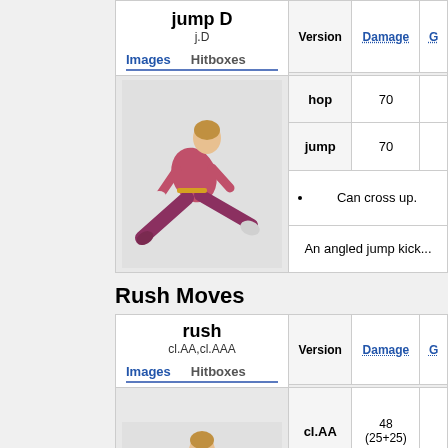| jump D / j.D | Version | Damage | G |
| --- | --- | --- | --- |
| hop | 70 |  |
| jump | 70 |  |
Can cross up.
An angled jump kick...
Rush Moves
| rush / cl.AA,cl.AAA | Version | Damage | G |
| --- | --- | --- | --- |
| cl.AA | 48 (25+25) |  |
| cl.AAX | - |  |